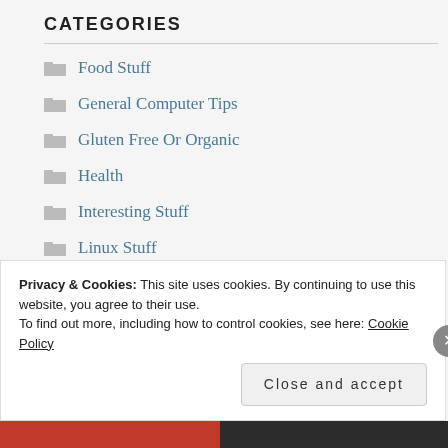CATEGORIES
Food Stuff
General Computer Tips
Gluten Free Or Organic
Health
Interesting Stuff
Linux Stuff
Lyme Disease
Plants and Foraging
Privacy & Cookies: This site uses cookies. By continuing to use this website, you agree to their use.
To find out more, including how to control cookies, see here: Cookie Policy
Close and accept